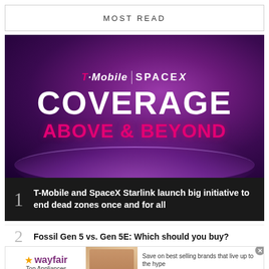MOST READ
[Figure (illustration): T-Mobile and SpaceX branded promotional image with dark purple cosmic background. Shows 'T-Mobile | SPACEX' logo at top, 'COVERAGE' in large white bold text, 'ABOVE & BEYOND' in large pink/magenta text, with planet arc and cosmic glow effects.]
1 T-Mobile and SpaceX Starlink launch big initiative to end dead zones once and for all
2 Fossil Gen 5 vs. Gen 5E: Which should you buy?
[Figure (illustration): Wayfair advertisement banner. Shows Wayfair logo on left, 'Top Appliances Low Prices' text, appliance photo in center, and 'Save on best selling brands that live up to the hype' with 'Shop now' purple button on right.]